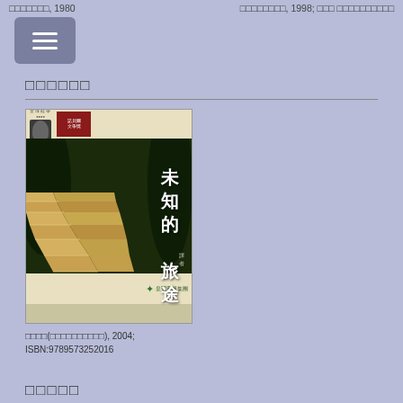□□□□□□□, 1980
□□□□□□□□, 1998; □□□ □□□□□□□□□□
□□□□□□
[Figure (photo): Book cover of '未知的旅途' (Journey to the Unknown), a Chinese book with a staircase design on dark green background, published by 皇冠出版社]
□□□□(□□□□□□□□□□), 2004; ISBN:9789573252016
□□□□□